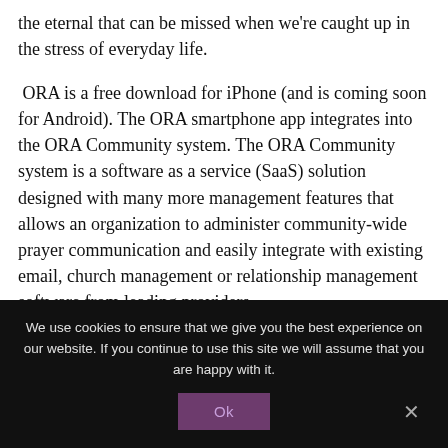the eternal that can be missed when we're caught up in the stress of everyday life.
ORA is a free download for iPhone (and is coming soon for Android). The ORA smartphone app integrates into the ORA Community system. The ORA Community system is a software as a service (SaaS) solution designed with many more management features that allows an organization to administer community-wide prayer communication and easily integrate with existing email, church management or relationship management software from leading providers.
We use cookies to ensure that we give you the best experience on our website. If you continue to use this site we will assume that you are happy with it.